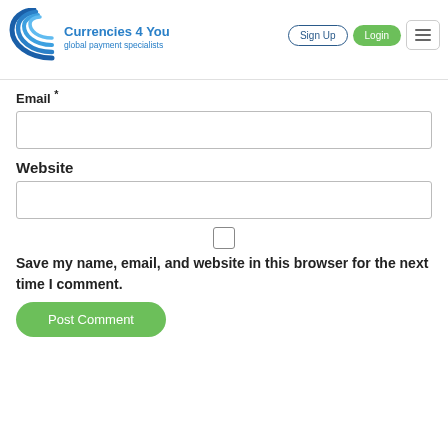[Figure (logo): Currencies 4 You logo with blue concentric arc icon and text 'Currencies 4 You / global payment specialists']
Sign Up
Login
Email *
Website
Save my name, email, and website in this browser for the next time I comment.
Post Comment